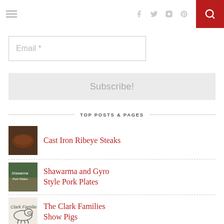Navigation bar with hamburger menu, social icons (facebook, twitter, instagram, pinterest), and search button
[Figure (screenshot): Email subscription input field with placeholder text 'Email *']
[Figure (screenshot): Subscribe! button in light gray]
TOP POSTS & PAGES
Cast Iron Ribeye Steaks
Shawarma and Gyro Style Pork Plates
The Clark Families Show Pigs
Iowa Ham Balls